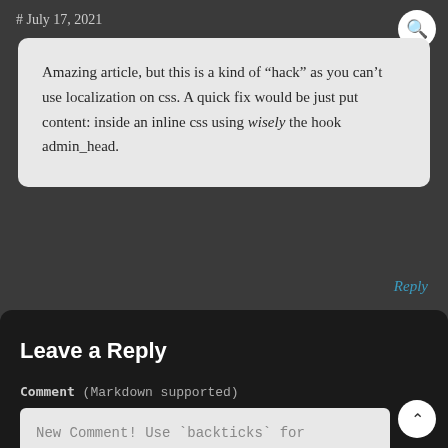# July 17, 2021
Amazing article, but this is a kind of “hack” as you can’t use localization on css. A quick fix would be just put content: inside an inline css using wisely the hook admin_head.
Reply
Leave a Reply
Comment (Markdown supported)
New Comment! Use `backticks` for code.